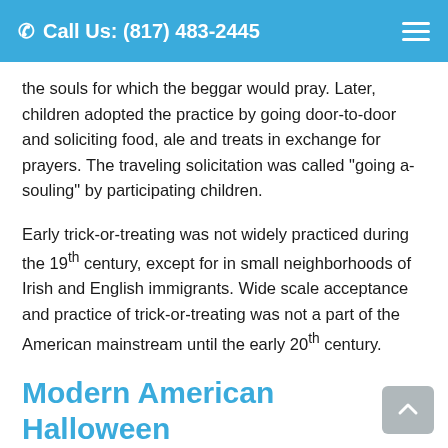Call Us: (817) 483-2445
the souls for which the beggar would pray. Later, children adopted the practice by going door-to-door and soliciting food, ale and treats in exchange for prayers. The traveling solicitation was called "going a-souling" by participating children.
Early trick-or-treating was not widely practiced during the 19th century, except for in small neighborhoods of Irish and English immigrants. Wide scale acceptance and practice of trick-or-treating was not a part of the American mainstream until the early 20th century.
Modern American Halloween